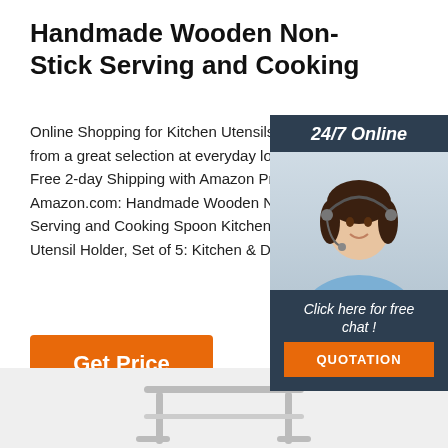Handmade Wooden Non-Stick Serving and Cooking
Online Shopping for Kitchen Utensils & from a great selection at everyday low Free 2-day Shipping with Amazon Prim Amazon.com: Handmade Wooden No Serving and Cooking Spoon Kitchen T Utensil Holder, Set of 5: Kitchen & Din
[Figure (photo): Customer service agent photo with 24/7 Online banner, Click here for free chat text, and QUOTATION button overlay widget]
[Figure (other): TOP button with orange dot triangle arrow icon]
[Figure (photo): Product image area showing a metal rack/stand at the bottom of the page]
Get Price